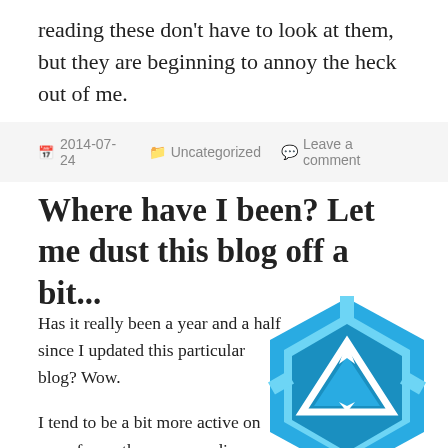reading these don't have to look at them, but they are beginning to annoy the heck out of me.
2014-07-24  Uncategorized  Leave a comment
Where have I been? Let me dust this blog off a bit...
Has it really been a year and a half since I updated this particular blog? Wow.
I tend to be a bit more active on one of my other, more audio-
[Figure (logo): Blue hexagonal Ingress game logo with white triangle and arrow design]